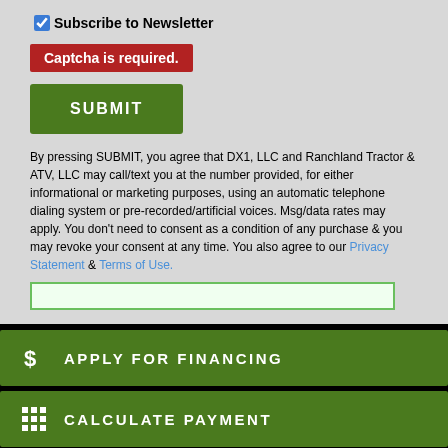Subscribe to Newsletter
Captcha is required.
SUBMIT
By pressing SUBMIT, you agree that DX1, LLC and Ranchland Tractor & ATV, LLC may call/text you at the number provided, for either informational or marketing purposes, using an automatic telephone dialing system or pre-recorded/artificial voices. Msg/data rates may apply. You don't need to consent as a condition of any purchase & you may revoke your consent at any time. You also agree to our Privacy Statement & Terms of Use.
APPLY FOR FINANCING
CALCULATE PAYMENT
SCHEDULE A TEST RIDE
COMPARE MODELS
Text Us!